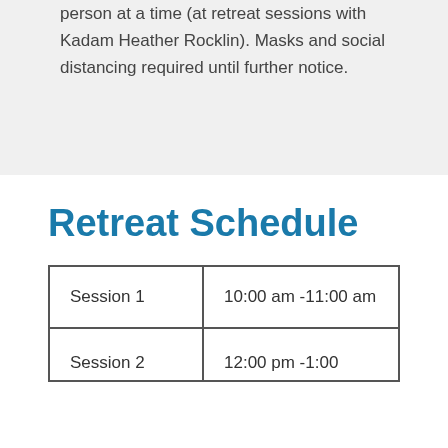person at a time (at retreat sessions with Kadam Heather Rocklin). Masks and social distancing required until further notice.
Retreat Schedule
| Session 1 | 10:00 am -11:00 am |
| Session 2 | 12:00 pm -1:00 |